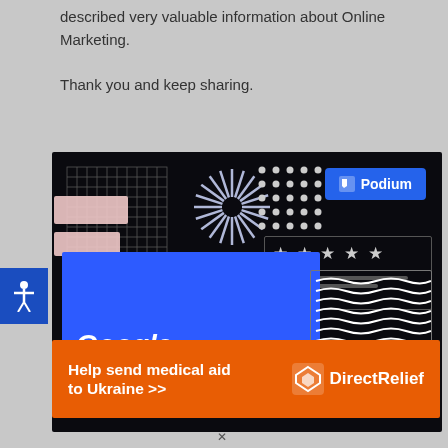described very valuable information about Online Marketing.

Thank you and keep sharing.
[Figure (illustration): Dark-background promotional graphic for 'Google Reviews 101' by Podium featuring a grid, starburst, pink rectangles, search bar, star rating box, and wavy lines pattern.]
[Figure (infographic): Orange banner advertisement: 'Help send medical aid to Ukraine >>' with Direct Relief logo on the right.]